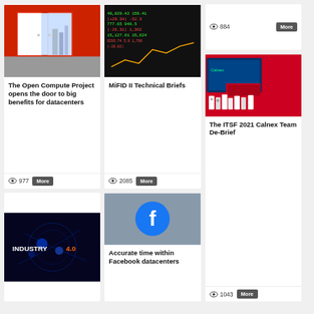[Figure (photo): Red room with white doors open to a city view]
The Open Compute Project opens the door to big benefits for datacenters
977
[Figure (photo): Stock market ticker board with green and red numbers]
MiFID II Technical Briefs
2085
884
[Figure (photo): Robot cows at ITSF 2021 Calnex event with red backdrop]
The ITSF 2021 Calnex Team De-Brief
1043
[Figure (photo): Industry 4.0 digital technology graphic]
[Figure (logo): Facebook logo - blue circle with white f on grey background]
Accurate time within Facebook datacenters
[Figure (photo): Mountain landscape with signal tower illustration]